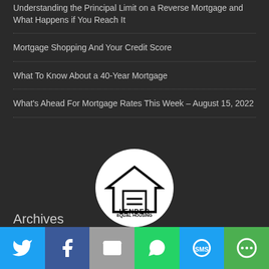Understanding the Principal Limit on a Reverse Mortgage and What Happens if You Reach It
Mortgage Shopping And Your Credit Score
What To Know About a 40-Year Mortgage
What's Ahead For Mortgage Rates This Week – August 15, 2022
[Figure (logo): Equal Housing Lender logo – circular white badge with house icon containing an equals sign, text 'EQUAL HOUSING LENDER']
Archives
[Figure (infographic): Social media share bar with 6 buttons: Twitter (blue), Facebook (dark blue), Email (gray), WhatsApp (green), SMS (blue), More (green)]